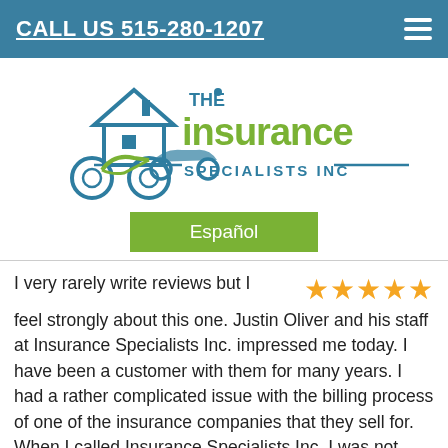CALL US 515-280-1207
[Figure (logo): The Insurance Specialists Inc. logo with house, car and motorcycle icons in blue and green]
Español
I very rarely write reviews but I feel strongly about this one. Justin Oliver and his staff at Insurance Specialists Inc. impressed me today. I have been a customer with them for many years. I had a rather complicated issue with the billing process of one of the insurance companies that they sell for. When I called Insurance Specialists Inc. I was not happy to say the least. The staff transferred me to Justin. Justin listened then told me he would do his best to help. He then spent a great deal of his time making all of